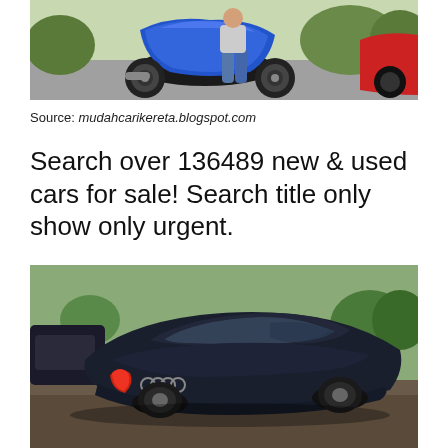[Figure (photo): Photo of a blue sport motorcycle with a person standing beside it, another motorcycle partially visible on the right, outdoors on pavement with green vegetation in background]
Source: mudahcarikereta.blogspot.com
Search over 136489 new & used cars for sale! Search title only show only urgent.
[Figure (photo): Photo of a dark navy/black Audi TT coupe seen from the rear-left angle, parked in a lot with other vehicles and trees visible in background]